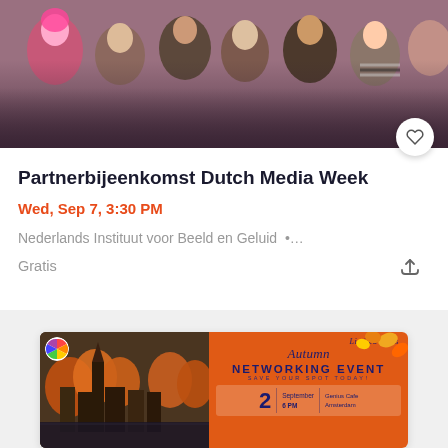[Figure (photo): Crowd of people at a social/networking event, viewed from above/behind]
Partnerbijeenkomst Dutch Media Week
Wed, Sep 7, 3:30 PM
Nederlands Instituut voor Beeld en Geluid •…
Gratis
[Figure (photo): Autumn Networking Event promotional flyer showing Amsterdam canal houses on left and orange event details on right. Limited spots. September 2, 6 PM, Genius Cafe Amsterdam.]